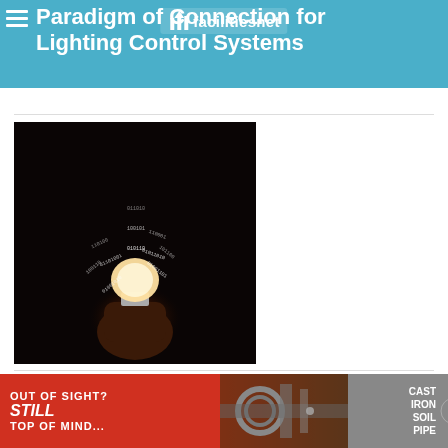Paradigm of Connection for Lighting Control Systems
[Figure (photo): Hand holding a glowing LED light bulb with binary code (0s and 1s) streaming upward from it against a dark background]
BUILDING OPERATING MANAGEMENT
Advanced Lighting Controls Help FMs Reap Rewards of Automated Demand Response
[Figure (photo): Advertisement banner: 'OUT OF SIGHT? STILL TOP OF MIND...' with Cast Iron Soil Pipe Institute logo on dark/red background]